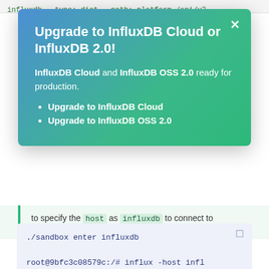influxdb   type: dict   path: platform /api/v2
Upgrade to InfluxDB Cloud or InfluxDB 2.0!
InfluxDB Cloud and InfluxDB OSS 2.0 ready for production.
Upgrade to InfluxDB Cloud
Upgrade to InfluxDB OSS 2.0
to specify the host as influxdb to connect to InfluxDB over the Docker network.
./sandbox enter influxdb

root@9bfc3c08579c:/# influx -host infl